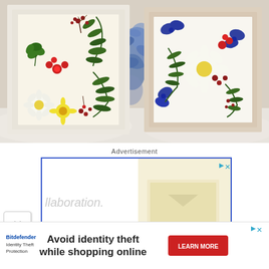[Figure (photo): Two framed pressed flower artworks side by side on a white fluffy surface. Left frame is white with pressed ferns, clovers, daisies, yellow and red flowers on cream background. Right frame is beige/pink with pressed flowers including yellow daisy, blue flowers, red and green botanicals on white/cream background. Blue flowers visible between the frames in the background.]
Advertisement
[Figure (screenshot): Advertisement banner with blue border. Left side shows partial text 'llaboration.' in light gray. Right side has a cream/yellow panel showing a picture frame or similar product. Top right corner has play and close (X) icons in light blue.]
[Figure (screenshot): Close button (X) in a white rounded square box on the left side of the page.]
[Figure (screenshot): Bottom banner advertisement. Bitdefender Identity Theft Protection logo on left. Center text reads 'Avoid identity theft while shopping online' in bold. Red 'LEARN MORE' button on right. Play and close (X) icons in top right.]